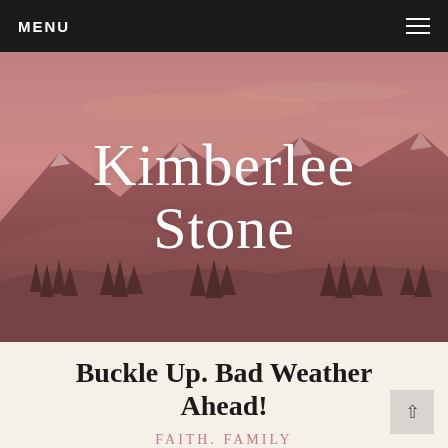MENU
[Figure (photo): Mountain landscape with pink/rose-toned sky at sunset or dusk, snow-capped mountains and evergreen trees in the foreground, with overlaid text 'Kimberlee Stone']
Kimberlee Stone
Buckle Up. Bad Weather Ahead!
FAITH. FAMILY